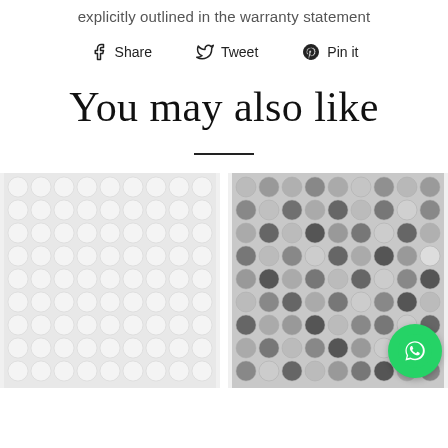explicitly outlined in the warranty statement
f Share   Twitter Tweet   Pinterest Pin it
You may also like
[Figure (photo): White penny round mosaic tile pattern]
[Figure (photo): Gray mixed penny round mosaic tile pattern with WhatsApp button overlay]